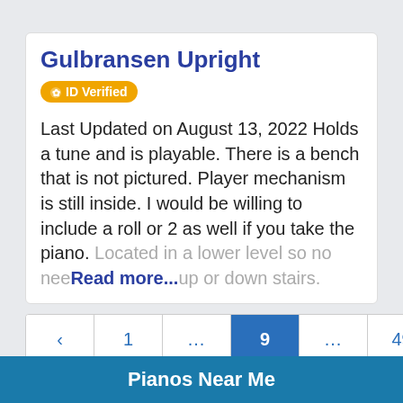Gulbransen Upright
ID Verified
Last Updated on August 13, 2022 Holds a tune and is playable. There is a bench that is not pictured. Player mechanism is still inside. I would be willing to include a roll or 2 as well if you take the piano. Located in a lower level so no nee Read more... up or down stairs.
< 1 ... 9 ... 49 >
Pianos Near Me